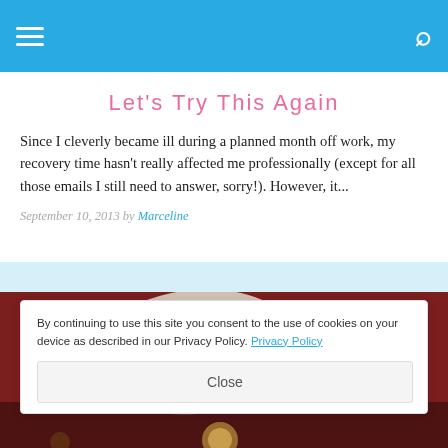Navigation header with hamburger menu and search icon
Let's Try This Again
Since I cleverly became ill during a planned month off work, my recovery time hasn't really affected me professionally (except for all those emails I still need to answer, sorry!). However, it...
September 10, 2013 by Marceline
[Figure (photo): Photo of decorative items on a dark red/maroon background, showing ornate jewelry or decorative boxes with pink and gold designs]
By continuing to use this site you consent to the use of cookies on your device as described in our Privacy Policy. Privacy Policy
Close